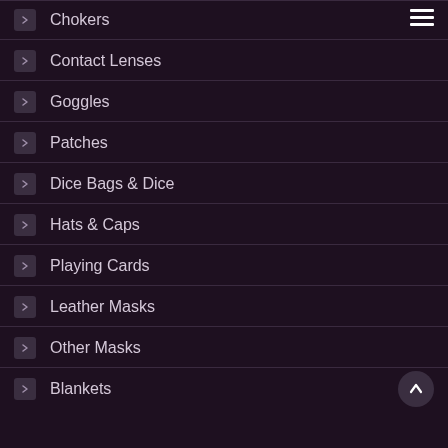Chokers
Contact Lenses
Goggles
Patches
Dice Bags & Dice
Hats & Caps
Playing Cards
Leather Masks
Other Masks
Blankets